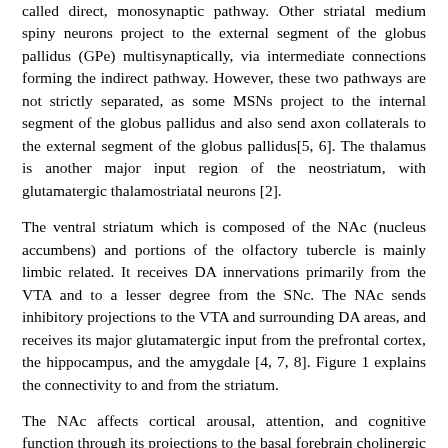called direct, monosynaptic pathway. Other striatal medium spiny neurons project to the external segment of the globus pallidus (GPe) multisynaptically, via intermediate connections forming the indirect pathway. However, these two pathways are not strictly separated, as some MSNs project to the internal segment of the globus pallidus and also send axon collaterals to the external segment of the globus pallidus[5, 6]. The thalamus is another major input region of the neostriatum, with glutamatergic thalamostriatal neurons [2].
The ventral striatum which is composed of the NAc (nucleus accumbens) and portions of the olfactory tubercle is mainly limbic related. It receives DA innervations primarily from the VTA and to a lesser degree from the SNc. The NAc sends inhibitory projections to the VTA and surrounding DA areas, and receives its major glutamatergic input from the prefrontal cortex, the hippocampus, and the amygdale [4, 7, 8]. Figure 1 explains the connectivity to and from the striatum.
The NAc affects cortical arousal, attention, and cognitive function through its projections to the basal forebrain cholinergic neurons [9]. The NAc participates in reward-based learning and addiction by serving as limbic-motor or motivation-action interface [4, 10].
A single dopamine neuron projecting to the striatum forms highly branched arbors, which constitutes 5.7% of the volume of the